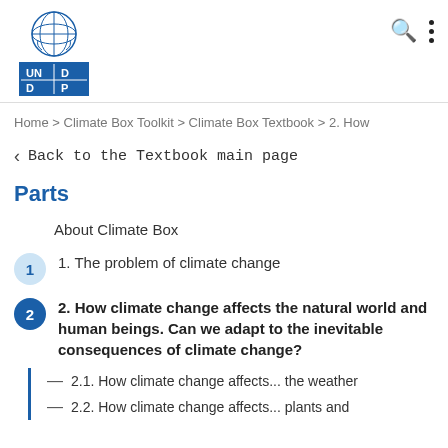[Figure (logo): UNDP logo with UN emblem above and blue square with UN DP text below]
Home > Climate Box Toolkit > Climate Box Textbook > 2. How
< Back to the Textbook main page
Parts
About Climate Box
1. The problem of climate change
2. How climate change affects the natural world and human beings. Can we adapt to the inevitable consequences of climate change?
2.1. How climate change affects... the weather
2.2. How climate change affects... plants and